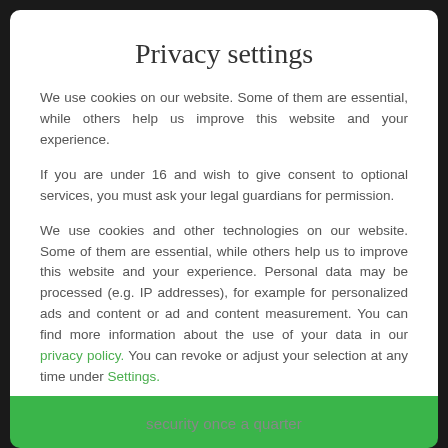Privacy settings
We use cookies on our website. Some of them are essential, while others help us improve this website and your experience.
If you are under 16 and wish to give consent to optional services, you must ask your legal guardians for permission.
We use cookies and other technologies on our website. Some of them are essential, while others help us to improve this website and your experience. Personal data may be processed (e.g. IP addresses), for example for personalized ads and content or ad and content measurement. You can find more information about the use of your data in our privacy policy. You can revoke or adjust your selection at any time under Settings.
Essential
Statistics
External media
security once a quarter